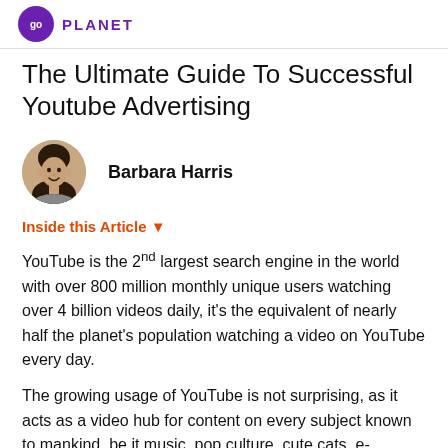PLANET
The Ultimate Guide To Successful Youtube Advertising
[Figure (photo): Circular headshot photo of author Barbara Harris, a woman with dark hair and a smile]
Barbara Harris
Inside this Article ▼
YouTube is the 2nd largest search engine in the world with over 800 million monthly unique users watching over 4 billion videos daily, it's the equivalent of nearly half the planet's population watching a video on YouTube every day.
The growing usage of YouTube is not surprising, as it acts as a video hub for content on every subject known to mankind, be it music, pop culture, cute cats, e-learning and much more.
So we know that YouTube is a media empire, but is